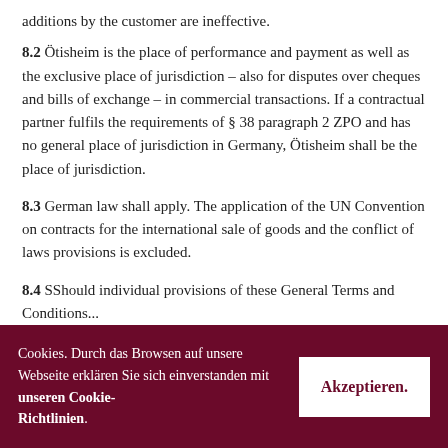additions by the customer are ineffective.
8.2 Ötisheim is the place of performance and payment as well as the exclusive place of jurisdiction – also for disputes over cheques and bills of exchange – in commercial transactions. If a contractual partner fulfils the requirements of § 38 paragraph 2 ZPO and has no general place of jurisdiction in Germany, Ötisheim shall be the place of jurisdiction.
8.3 German law shall apply. The application of the UN Convention on contracts for the international sale of goods and the conflict of laws provisions is excluded.
8.4 SShould individual provisions of these General Terms and Conditions...
Cookies. Durch das Browsen auf unsere Webseite erklären Sie sich einverstanden mit unseren Cookie-Richtlinien.